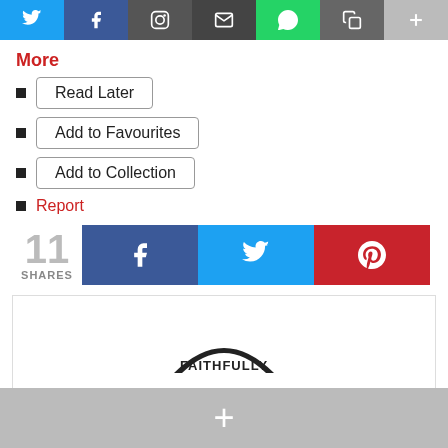[Figure (screenshot): Social media share buttons bar: Twitter (blue), Facebook (dark blue), emoji/reaction, email, WhatsApp (green), copy, and plus (gray)]
More
Read Later
Add to Favourites
Add to Collection
Report
[Figure (infographic): 11 SHARES with Facebook, Twitter, and Pinterest share buttons]
[Figure (logo): Faithfully logo - semicircle arch with FAITHFULLY text]
[Figure (infographic): Gray bottom bar with a white plus (+) icon]